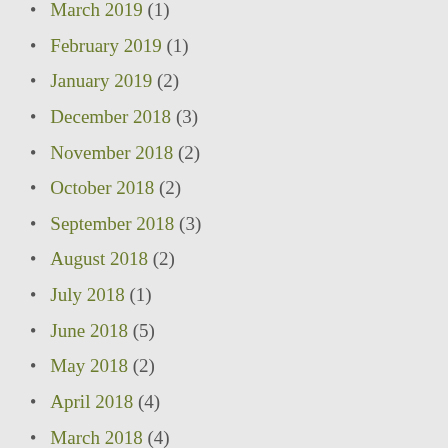March 2019 (1)
February 2019 (1)
January 2019 (2)
December 2018 (3)
November 2018 (2)
October 2018 (2)
September 2018 (3)
August 2018 (2)
July 2018 (1)
June 2018 (5)
May 2018 (2)
April 2018 (4)
March 2018 (4)
February 2018 (3)
January 2018 (4)
December 2017 (4)
November 2017 (4)